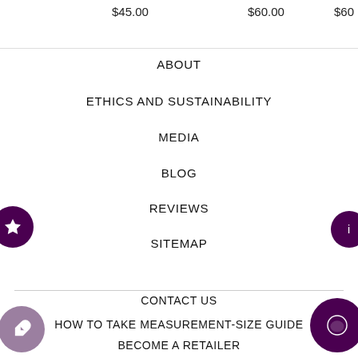$45.00
$60.00
$60
ABOUT
ETHICS AND SUSTAINABILITY
MEDIA
BLOG
REVIEWS
SITEMAP
CONTACT US
HOW TO TAKE MEASUREMENT-SIZE GUIDE
BECOME A RETAILER
JOIN OUR COMMUNITY